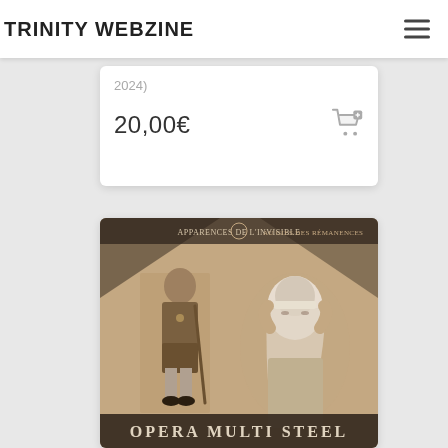TRINITY WEBZINE
20,00€
[Figure (photo): Album cover for Opera Multi Steel – Apparences de l'Invisible / Au Gies des Rémanences. Sepia-toned image showing a young boy with a cane on the left and a woman in a white head covering on the right. Band name 'OPERA MULTI STEEL' displayed at the bottom.]